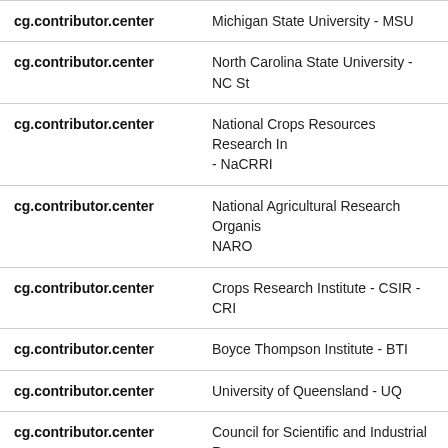| Field | Value |
| --- | --- |
| cg.contributor.center | Michigan State University - MSU |
| cg.contributor.center | North Carolina State University - NC St |
| cg.contributor.center | National Crops Resources Research In - NaCRRI |
| cg.contributor.center | National Agricultural Research Organis NARO |
| cg.contributor.center | Crops Research Institute - CSIR - CRI |
| cg.contributor.center | Boyce Thompson Institute - BTI |
| cg.contributor.center | University of Queensland - UQ |
| cg.contributor.center | Council for Scientific and Industrial Res Savanna Agricultural Research Institute Scientific Support Group - CSIR-SARI- |
| cg.contributor.crp | CGIAR Research Program on Roots, T and Bananas - RTB |
| cg.contributor.funder | North Carolina State University - NC St |